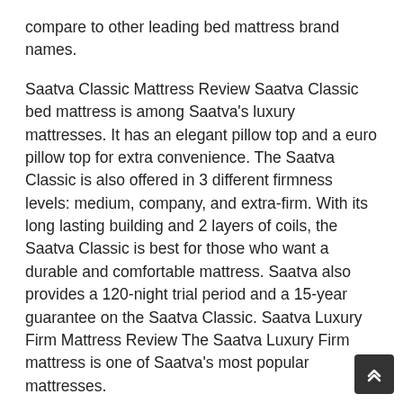compare to other leading bed mattress brand names.
Saatva Classic Mattress Review Saatva Classic bed mattress is among Saatva's luxury mattresses. It has an elegant pillow top and a euro pillow top for extra convenience. The Saatva Classic is also offered in 3 different firmness levels: medium, company, and extra-firm. With its long lasting building and 2 layers of coils, the Saatva Classic is best for those who want a durable and comfortable mattress. Saatva also provides a 120-night trial period and a 15-year guarantee on the Saatva Classic. Saatva Luxury Firm Mattress Review The Saatva Luxury Firm mattress is one of Saatva's most popular mattresses.
Saatva Classic Pros:
– Saatva Classic is offered in three different firmnes